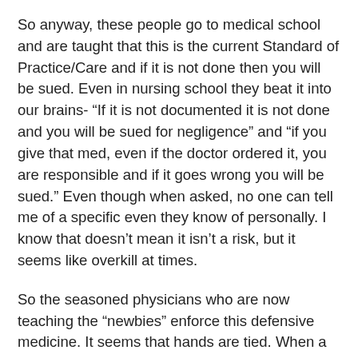So anyway, these people go to medical school and are taught that this is the current Standard of Practice/Care and if it is not done then you will be sued. Even in nursing school they beat it into our brains- “If it is not documented it is not done and you will be sued for negligence” and “if you give that med, even if the doctor ordered it, you are responsible and if it goes wrong you will be sued.” Even though when asked, no one can tell me of a specific even they know of personally. I know that doesn’t mean it isn’t a risk, but it seems like overkill at times.
So the seasoned physicians who are now teaching the “newbies” enforce this defensive medicine. It seems that hands are tied. When a patient comes in once or twice a week for “kidney stone” or some other mysterious, unsolvable abdominal pain, a CT scan will likely be ordered. Common sense along with the fact that the other 10 CT scans they have had in the last year show nothing abnormal-well maybe constipation from the pain meds. Obviously,